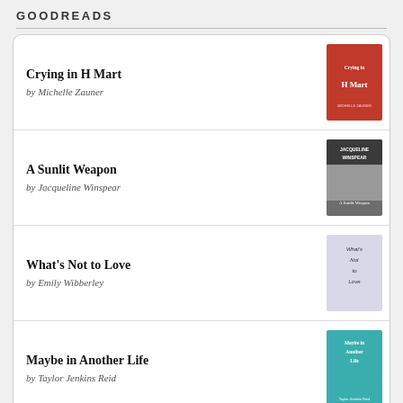GOODREADS
Crying in H Mart by Michelle Zauner
A Sunlit Weapon by Jacqueline Winspear
What's Not to Love by Emily Wibberley
Maybe in Another Life by Taylor Jenkins Reid
The Opposite of Spoiled: Raising Kids Who Are